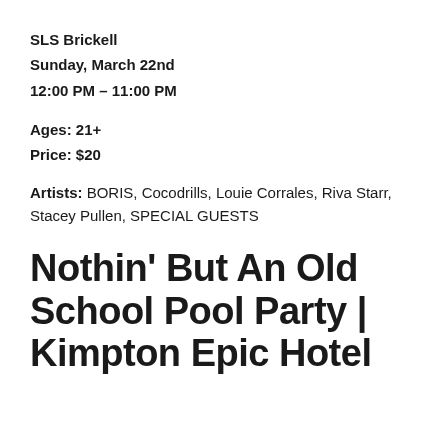SLS Brickell
Sunday, March 22nd
12:00 PM – 11:00 PM
Ages: 21+
Price: $20
Artists: BORIS, Cocodrills, Louie Corrales, Riva Starr, Stacey Pullen, SPECIAL GUESTS
Nothin' But An Old School Pool Party | Kimpton Epic Hotel